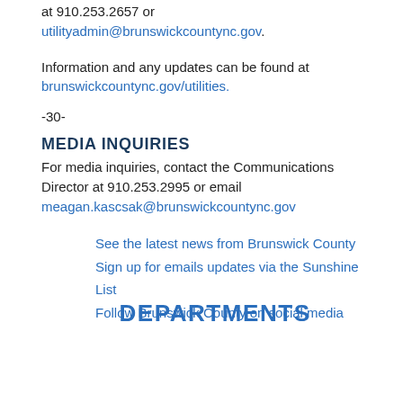at 910.253.2657 or utilityadmin@brunswickcountync.gov.
Information and any updates can be found at brunswickcountync.gov/utilities.
-30-
MEDIA INQUIRIES
For media inquiries, contact the Communications Director at 910.253.2995 or email meagan.kascsak@brunswickcountync.gov
See the latest news from Brunswick County
Sign up for emails updates via the Sunshine List
Follow Brunswick County on social media
DEPARTMENTS